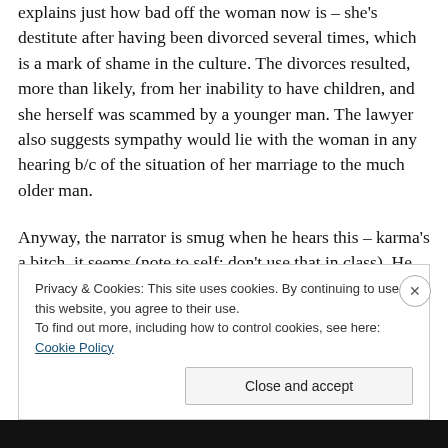explains just how bad off the woman now is – she's destitute after having been divorced several times, which is a mark of shame in the culture. The divorces resulted, more than likely, from her inability to have children, and she herself was scammed by a younger man. The lawyer also suggests sympathy would lie with the woman in any hearing b/c of the situation of her marriage to the much older man.
Anyway, the narrator is smug when he hears this – karma's a bitch, it seems (note to self: don't use that in class). He goes to court with the intention of seeing just
Privacy & Cookies: This site uses cookies. By continuing to use this website, you agree to their use.
To find out more, including how to control cookies, see here: Cookie Policy